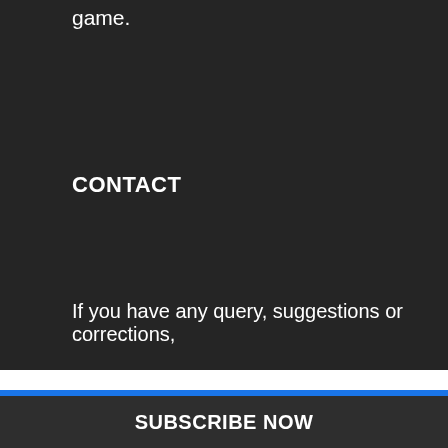game.
CONTACT
If you have any query, suggestions or corrections,
[Figure (screenshot): Blue modal popup overlay with close button (×), title 'Don't Miss Our Update', subtitle 'Get Tips and Tricks straight to your mailbox.', two input fields (Enter your name here..., Enter your email here...), and spam disclaimer text.]
Don't Miss Our Update
Get Tips and Tricks straight to your mailbox.
Enter your name here...
Enter your email here...
We promise not to spam you. You can unsubscribe at any time.
SUBSCRIBE NOW